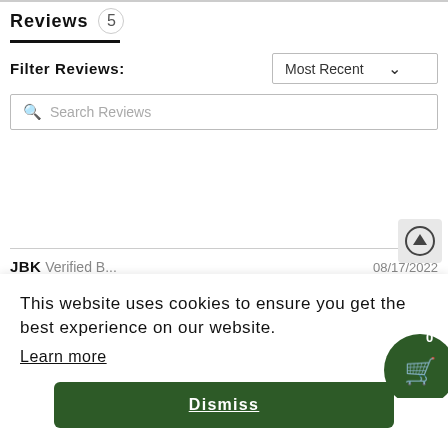Reviews 5
Filter Reviews:
Most Recent
Search Reviews
JBK Verified B... 08/17/2022
This website uses cookies to ensure you get the best experience on our website.
Learn more
Dismiss